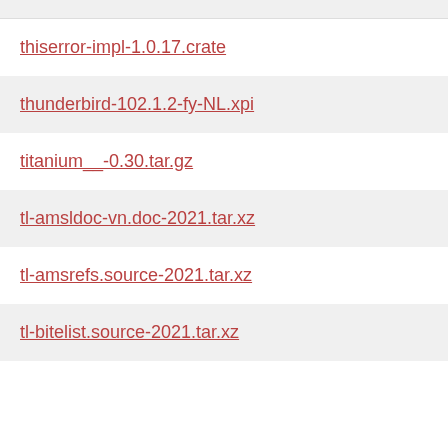thiserror-impl-1.0.17.crate
thunderbird-102.1.2-fy-NL.xpi
titanium__-0.30.tar.gz
tl-amsldoc-vn.doc-2021.tar.xz
tl-amsrefs.source-2021.tar.xz
tl-bitelist.source-2021.tar.xz